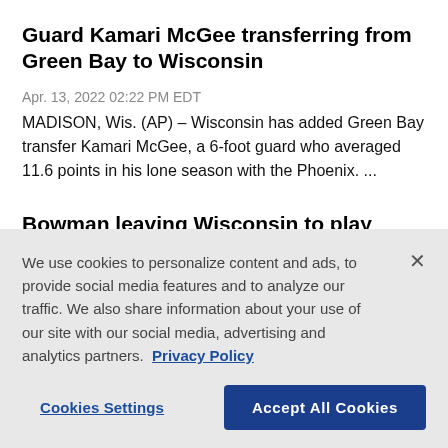Guard Kamari McGee transferring from Green Bay to Wisconsin
Apr. 13, 2022 02:22 PM EDT
MADISON, Wis. (AP) – Wisconsin has added Green Bay transfer Kamari McGee, a 6-foot guard who averaged 11.6 points in his lone season with the Phoenix. ...
Bowman leaving Wisconsin to play closer to his Detroit home
We use cookies to personalize content and ads, to provide social media features and to analyze our traffic. We also share information about your use of our site with our social media, advertising and analytics partners. Privacy Policy
Cookies Settings | Accept All Cookies